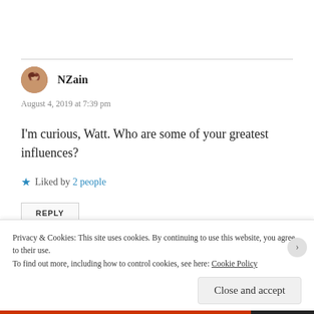[Figure (illustration): Circular avatar photo of a woman with reddish-brown hair]
NZain
August 4, 2019 at 7:39 pm
I'm curious, Watt. Who are some of your greatest influences?
Liked by 2 people
REPLY
Privacy & Cookies: This site uses cookies. By continuing to use this website, you agree to their use.
To find out more, including how to control cookies, see here: Cookie Policy
Close and accept